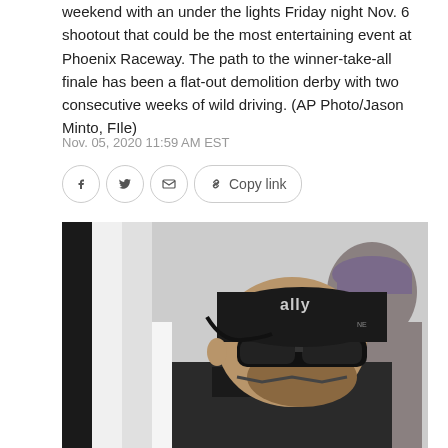weekend with an under the lights Friday night Nov. 6 shootout that could be the most entertaining event at Phoenix Raceway. The path to the winner-take-all finale has been a flat-out demolition derby with two consecutive weeks of wild driving. (AP Photo/Jason Minto, FIle)
Nov. 05, 2020 11:59 AM EST
[Figure (photo): NASCAR driver wearing a black 'ally' branded cap and sunglasses, viewed from side profile inside a race car. Another person visible in background wearing a purple cap.]